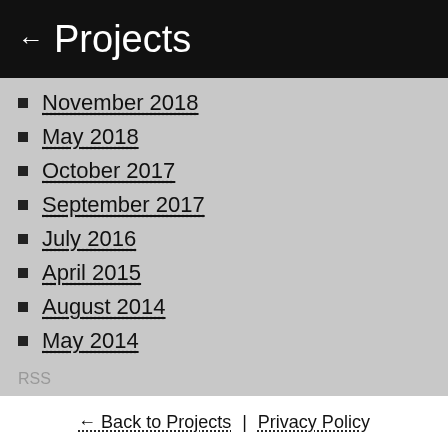← Projects
November 2018
May 2018
October 2017
September 2017
July 2016
April 2015
August 2014
May 2014
RSS
Posts
← Back to Projects | Privacy Policy